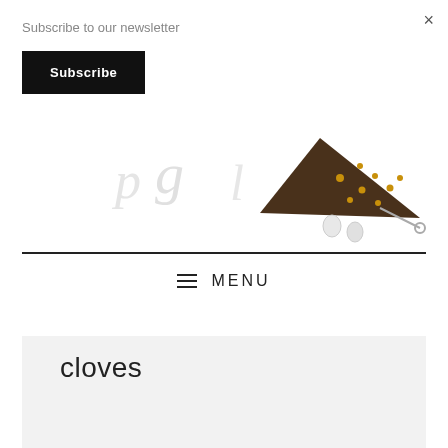Subscribe to our newsletter
Subscribe
×
[Figure (illustration): Partial website logo/header with cursive script text and a decorative illustration of a hat with pearls on the right side]
≡ MENU
cloves